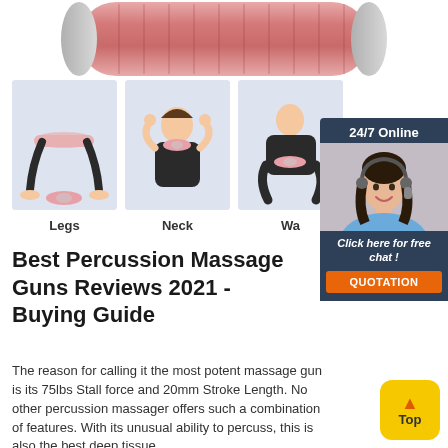[Figure (photo): Pink foam roller product image at top of page]
[Figure (photo): Three images showing foam roller usage: Legs, Neck, and Waist exercises by a woman in black activewear]
[Figure (infographic): 24/7 Online chat widget with customer service representative photo and 'Click here for free chat!' link and QUOTATION button]
Best Percussion Massage Guns Reviews 2021 - Buying Guide
The reason for calling it the most potent massage gun is its 75lbs Stall force and 20mm Stroke Length. No other percussion massager offers such a combination of features. With its unusual ability to percuss, this is also the best deep tissue
[Figure (other): Top button in yellow/orange with upward arrow]